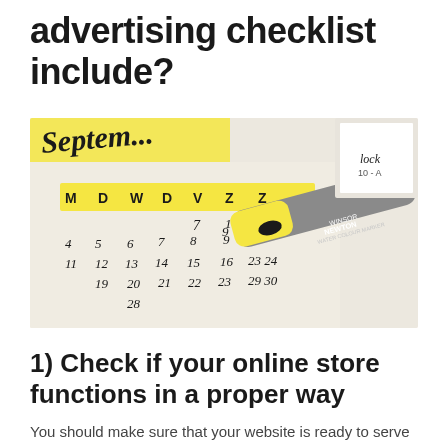advertising checklist include?
[Figure (photo): A close-up photo of a handwritten calendar open to September, with dates written in script. A yellow and grey Winsor & Newton Water Colour Marker is resting on the calendar, highlighting the row with Z Z columns.]
1) Check if your online store functions in a proper way
You should make sure that your website is ready to serve the customers. So, check if your store works to its best on